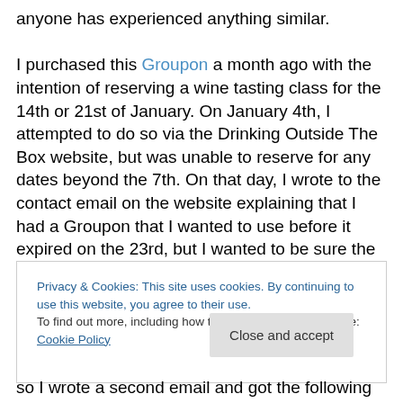anyone has experienced anything similar.

I purchased this Groupon a month ago with the intention of reserving a wine tasting class for the 14th or 21st of January. On January 4th, I attempted to do so via the Drinking Outside The Box website, but was unable to reserve for any dates beyond the 7th. On that day, I wrote to the contact email on the website explaining that I had a Groupon that I wanted to use before it expired on the 23rd, but I wanted to be sure the 7th wasn't my last chance and the response I got was:
Privacy & Cookies: This site uses cookies. By continuing to use this website, you agree to their use.
To find out more, including how to control cookies, see here: Cookie Policy
[Close and accept button]
so I wrote a second email and got the following